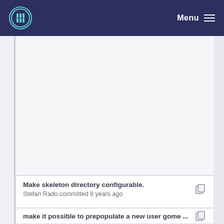Menu
[Figure (other): Large blank/white content area representing a scrollable web page region]
Make skeleton directory configurable.
Stefan Rado committed 8 years ago
make it possible to prepopulate a new user gome ...